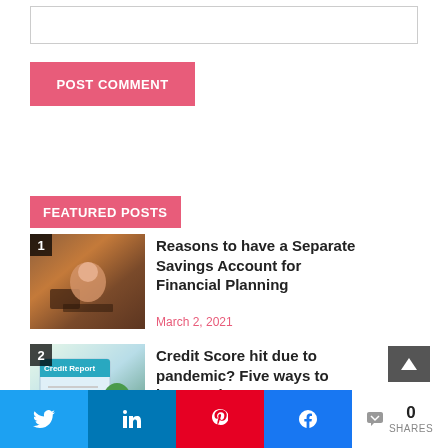[Figure (other): Text input/comment box (empty)]
POST COMMENT
FEATURED POSTS
[Figure (photo): Photo of person working at desk in restaurant/cafe setting, numbered 1]
Reasons to have a Separate Savings Account for Financial Planning
March 2, 2021
[Figure (photo): Photo of credit report document showing score 785, numbered 2]
Credit Score hit due to pandemic? Five ways to improve it
[Figure (other): Back to top button (dark grey with up arrow)]
0
SHARES